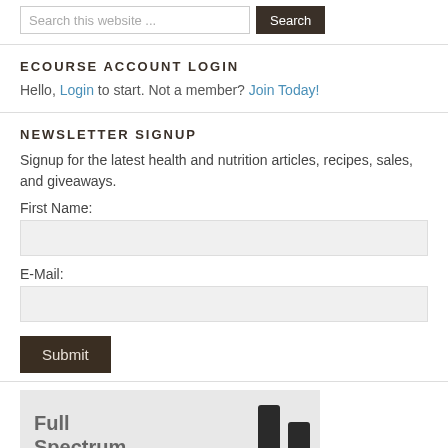[Figure (screenshot): Search bar with text input 'Search this website ...' and a dark 'Search' button]
ECOURSE ACCOUNT LOGIN
Hello, Login to start. Not a member? Join Today!
NEWSLETTER SIGNUP
Signup for the latest health and nutrition articles, recipes, sales, and giveaways.
First Name:
E-Mail:
[Figure (screenshot): Newsletter signup form with First Name and E-Mail input fields and a dark Submit button]
[Figure (photo): Advertisement image showing 'Full Spectrum' text with dropper bottles on a light background]